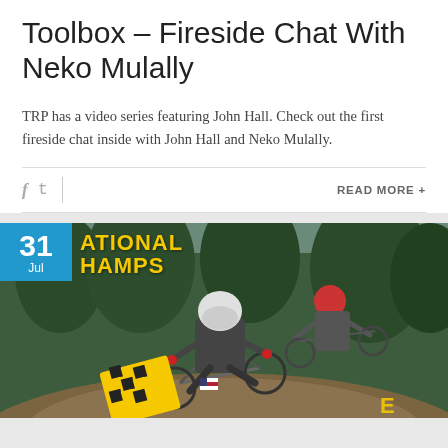Toolbox – Fireside Chat With Neko Mulally
TRP has a video series featuring John Hall. Check out the first fireside chat inside with John Hall and Neko Mulally.
READ MORE +
[Figure (photo): Mountain bike downhill racing photo with two riders in helmets and full gear on a forested trail. Overlay text reads '31 Jul' date badge in blue, 'NATIONAL CHAMPS' in yellow bold text, a checkered flag graphic in yellow/black, and partial text 'EPISODE' at bottom right.]